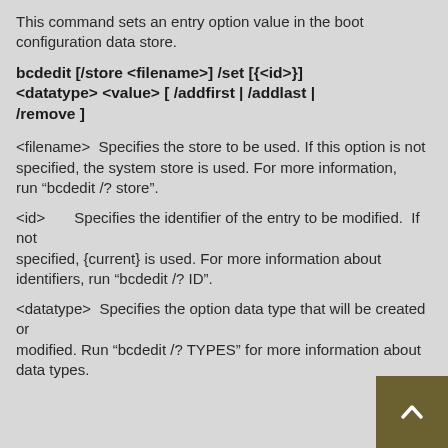This command sets an entry option value in the boot configuration data store.
bcdedit [/store <filename>] /set [{<id>}] <datatype> <value> [ /addfirst | /addlast | /remove ]
<filename>  Specifies the store to be used. If this option is not specified, the system store is used. For more information, run “bcdedit /? store”.
<id>       Specifies the identifier of the entry to be modified.  If not specified, {current} is used. For more information about identifiers, run “bcdedit /? ID”.
<datatype>  Specifies the option data type that will be created or modified. Run “bcdedit /? TYPES” for more information about data types.